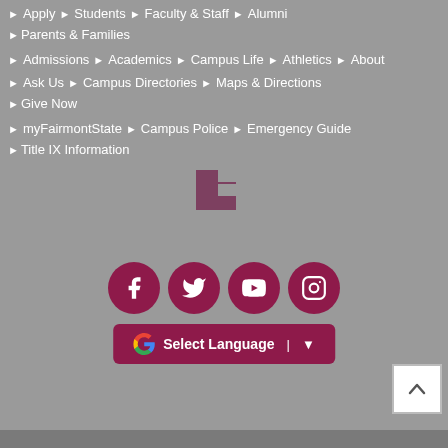Apply ▶ Students ▶ Faculty & Staff ▶ Alumni
▶ Parents & Families
▶ Admissions ▶ Academics ▶ Campus Life ▶ Athletics ▶ About
▶ Ask Us ▶ Campus Directories ▶ Maps & Directions
▶ Give Now
▶ myFairmontState ▶ Campus Police ▶ Emergency Guide
▶ Title IX Information
[Figure (logo): Fairmont State University logo shape in maroon]
[Figure (infographic): Social media icons: Facebook, Twitter, YouTube, Instagram (maroon circles)]
Select Language | ▼
Back to top arrow button